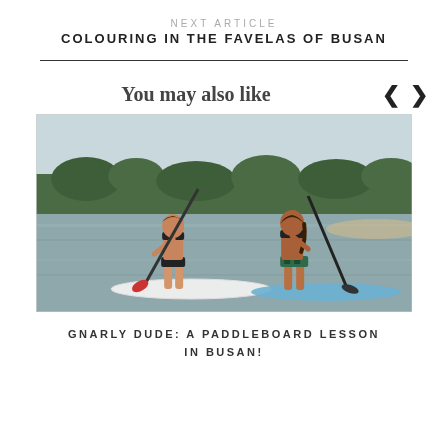NEXT ARTICLE
COLOURING IN THE FAVELAS OF BUSAN
You may also like
[Figure (photo): Two women in bikinis standing on paddleboards on calm water, holding paddles, with trees and shoreline in the background.]
GNARLY DUDE: A PADDLEBOARD LESSON IN BUSAN!